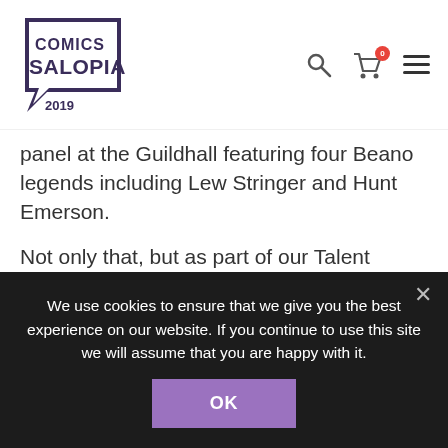Comics Salopia 2019 [logo] [search icon] [cart icon: 0] [hamburger menu]
panel at the Guildhall featuring four Beano legends including Lew Stringer and Hunt Emerson.
Not only that, but as part of our Talent Development Programme at the Guildhall, for those super fan ticket holders with aspirations of drawing cartoons for a living, there will also be an opportunity for one to one portfolio reviews with the Beano Editor.
Any parents wishing to find out more about our Kids
We use cookies to ensure that we give you the best experience on our website. If you continue to use this site we will assume that you are happy with it.